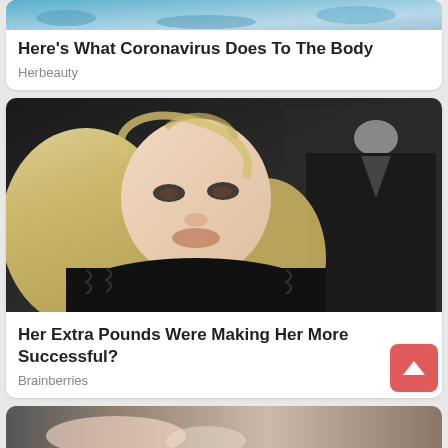[Figure (photo): Top portion of coronavirus article card image, partially visible at top]
Here's What Coronavirus Does To The Body
Herbeauty
[Figure (photo): Photo of a blonde woman with heavy makeup wearing a black fur coat, standing next to a man in a black shirt]
Her Extra Pounds Were Making Her More Successful?
Brainberries
[Figure (photo): Bottom card image, partially visible, showing a person]